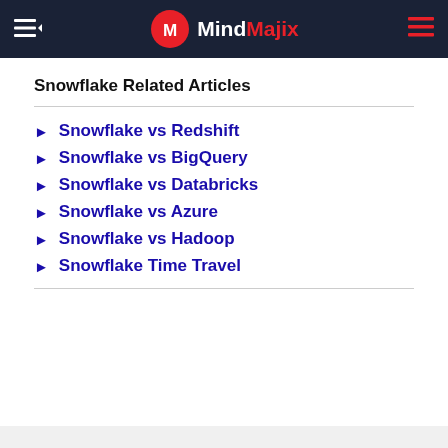MindMajix
Snowflake Related Articles
Snowflake vs Redshift
Snowflake vs BigQuery
Snowflake vs Databricks
Snowflake vs Azure
Snowflake vs Hadoop
Snowflake Time Travel